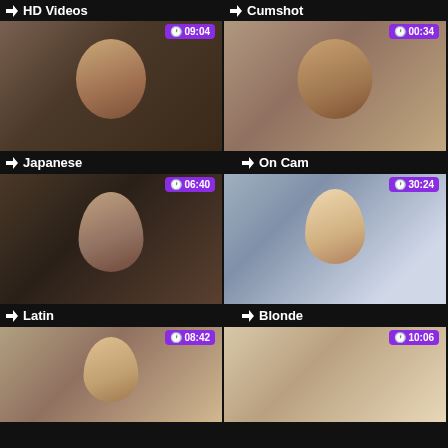HD Videos
Cumshot
[Figure (photo): Woman smiling at camera, duration 09:04]
Japanese
[Figure (photo): Woman on webcam with glasses, duration 00:34]
On Cam
[Figure (photo): Woman with dark hair in black top, duration 06:40]
Latin
[Figure (photo): Blonde woman in blue dress on bed, duration 30:24]
Blonde
[Figure (photo): Woman in white top, duration 08:42]
[Figure (photo): Close-up photo, duration 10:06]